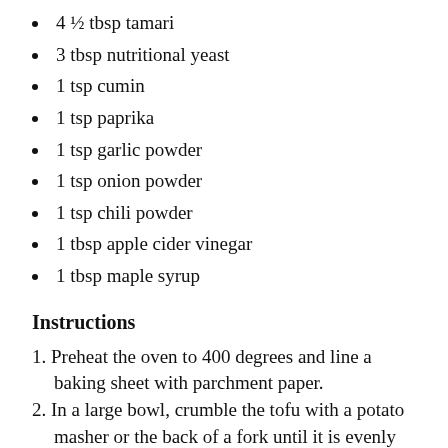4 ½ tbsp tamari
3 tbsp nutritional yeast
1 tsp cumin
1 tsp paprika
1 tsp garlic powder
1 tsp onion powder
1 tsp chili powder
1 tbsp apple cider vinegar
1 tbsp maple syrup
Instructions
1. Preheat the oven to 400 degrees and line a baking sheet with parchment paper.
2. In a large bowl, crumble the tofu with a potato masher or the back of a fork until it is evenly ground.
3. Add all the seasonings and sauces to the tofu, and mix until crumbles are coated evenly.